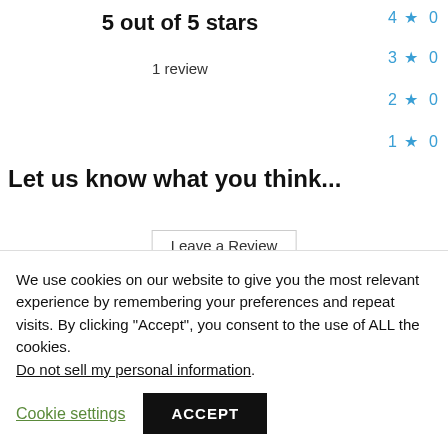5 out of 5 stars
1 review
4 ★ 0
3 ★ 0
2 ★ 0
1 ★ 0
Let us know what you think...
Leave a Review
Only logged in customers who have purchased this product may leave a review. Log in now
What others are
Show everything
We use cookies on our website to give you the most relevant experience by remembering your preferences and repeat visits. By clicking "Accept", you consent to the use of ALL the cookies. Do not sell my personal information.
Cookie settings
ACCEPT